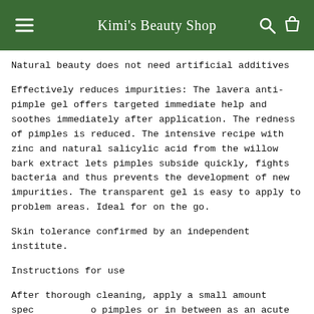Kimi's Beauty Shop
Natural beauty does not need artificial additives
Effectively reduces impurities: The lavera anti-pimple gel offers targeted immediate help and soothes immediately after application. The redness of pimples is reduced. The intensive recipe with zinc and natural salicylic acid from the willow bark extract lets pimples subside quickly, fights bacteria and thus prevents the development of new impurities. The transparent gel is easy to apply to problem areas. Ideal for on the go.
Skin tolerance confirmed by an independent institute.
Instructions for use
After thorough cleaning, apply a small amount specifically to pimples or in between as an acute aid.
Repeat the application if necessary.